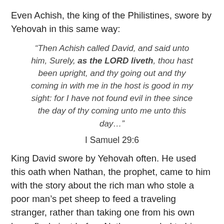Even Achish, the king of the Philistines, swore by Yehovah in this same way:
“Then Achish called David, and said unto him, Surely, as the LORD liveth, thou hast been upright, and thy going out and thy coming in with me in the host is good in my sight: for I have not found evil in thee since the day of thy coming unto me unto this day…”
I Samuel 29:6
King David swore by Yehovah often. He used this oath when Nathan, the prophet, came to him with the story about the rich man who stole a poor man’s pet sheep to feed a traveling stranger, rather than taking one from his own huge flock, just before Nathan revealed to him that the story was about him and his affair with Bathsheba. David